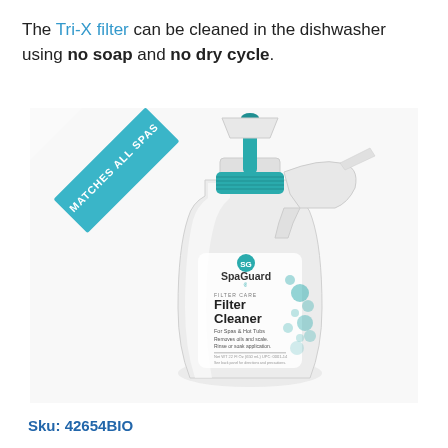The Tri-X filter can be cleaned in the dishwasher using no soap and no dry cycle.
[Figure (photo): A SpaGuard Filter Cleaner spray bottle (white with teal pump nozzle and cap) with a blue diagonal banner in the upper-left corner reading 'MATCHES ALL SPAS'. The bottle label reads 'SpaGuard Filter Cleaner For Spas & Hot Tubs. Removes oils and scale. Rinse or soak application.']
Sku: 42654BIO